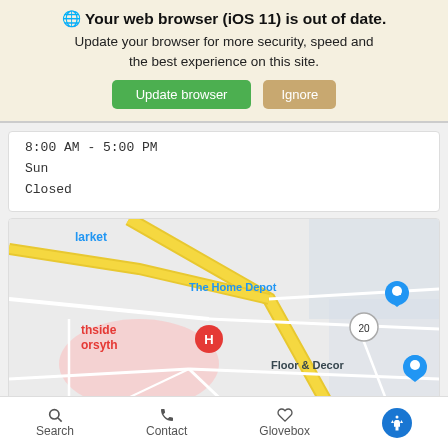🌐 Your web browser (iOS 11) is out of date. Update your browser for more security, speed and the best experience on this site. [Update browser] [Ignore]
8:00 AM - 5:00 PM
Sun
Closed
[Figure (map): Google Maps screenshot showing the area around The Home Depot and Floor & Decor in Forsyth, with road 20, a hospital marker labeled 'thside orsyth', and surrounding streets and terrain.]
Search   Contact   Glovebox   [accessibility icon]